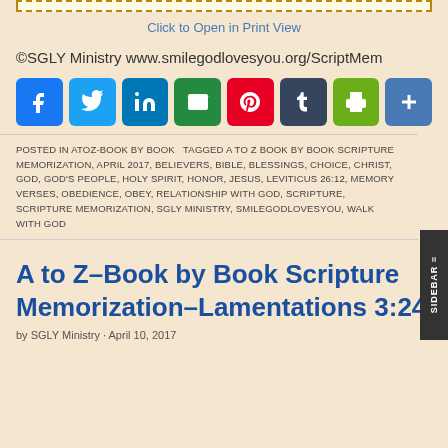[Figure (other): Dashed border print-view box at top]
Click to Open in Print View
©SGLY Ministry www.smilegodlovesyou.org/ScriptMem
[Figure (infographic): Social media sharing icons: Facebook, Twitter, LinkedIn, Email, Pinterest, Tumblr, Print, Add/Share]
POSTED IN ATOZ-BOOK BY BOOK   TAGGED A TO Z BOOK BY BOOK SCRIPTURE MEMORIZATION, APRIL 2017, BELIEVERS, BIBLE, BLESSINGS, CHOICE, CHRIST, GOD, GOD'S PEOPLE, HOLY SPIRIT, HONOR, JESUS, LEVITICUS 26:12, MEMORY VERSES, OBEDIENCE, OBEY, RELATIONSHIP WITH GOD, SCRIPTURE, SCRIPTURE MEMORIZATION, SGLY MINISTRY, SMILEGODLOVESYOU, WALK WITH GOD
A to Z–Book by Book Scripture Memorization–Lamentations 3:24
by SGLY Ministry · April 10, 2017